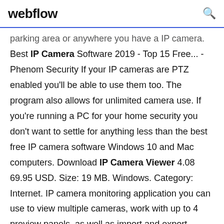webflow [search icon]
parking area or anywhere you have a IP camera. Best IP Camera Software 2019 - Top 15 Free... - Phenom Security If your IP cameras are PTZ enabled you'll be able to use them too. The program also allows for unlimited camera use. If you're running a PC for your home security you don't want to settle for anything less than the best free IP camera software Windows 10 and Mac computers. Download IP Camera Viewer 4.08 69.95 USD. Size: 19 MB. Windows. Category: Internet. IP camera monitoring application you can use to view multiple cameras, work with up to 4 preview panels, as well as import and export camera settings. IP Camera Viewer 4.05 + Portable IP Camera